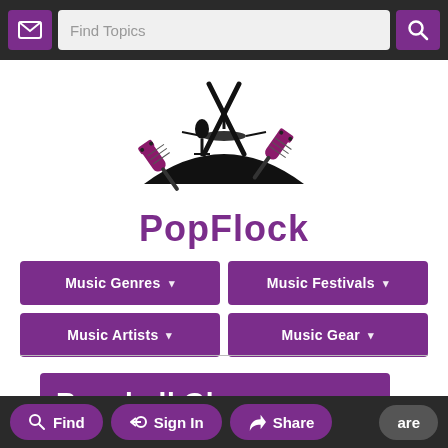Find Topics [search bar] [mail icon] [search icon]
[Figure (logo): PopFlock logo with musical instruments (guitars, microphone, drumsticks, cymbals) above the text PopFlock in purple]
Music Genres ▾
Music Festivals ▾
Music Artists ▾
Music Gear ▾
Baseball Glove
Find   Sign In   Share